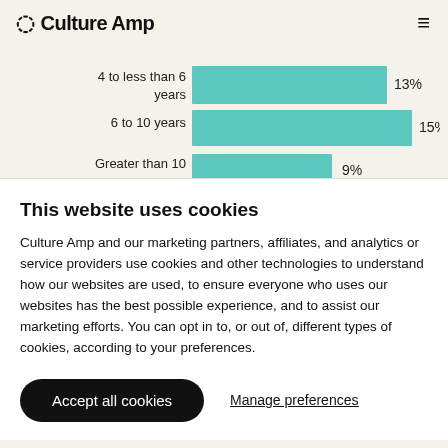Culture Amp
[Figure (bar-chart): Years at company]
This website uses cookies
Culture Amp and our marketing partners, affiliates, and analytics or service providers use cookies and other technologies to understand how our websites are used, to ensure everyone who uses our websites has the best possible experience, and to assist our marketing efforts. You can opt in to, or out of, different types of cookies, according to your preferences.
Accept all cookies
Manage preferences